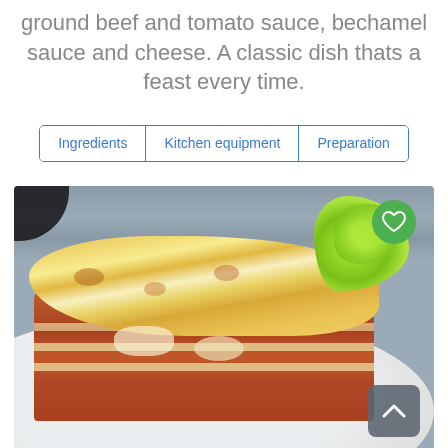ground beef and tomato sauce, bechamel sauce and cheese. A classic dish thats a feast every time.
[Figure (other): Navigation tab bar with three tabs: Ingredients, Kitchen equipment, Preparation. Blue border and blue text on white background.]
[Figure (photo): Close-up photo of a serving of lasagna on a white plate, showing layers of pasta, tomato meat sauce, and melted golden cheese on top, with a garnish of green lettuce leaves. A green circle with a white heart icon is in the top right corner, and a dark grey scroll-up arrow button is in the bottom right corner. A dark background (possibly black bowl) is visible in the top left corner.]